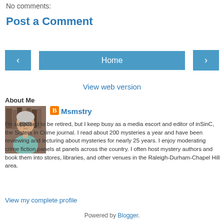No comments:
Post a Comment
Home (navigation buttons with < and > arrows)
View web version
About Me
[Figure (photo): Profile photo of an older woman with short grey hair and glasses, wearing a teal top]
Msmstry
I'm supposed to be retired, but I keep busy as a media escort and editor of inSinC, the Sisters in Crime journal. I read about 200 mysteries a year and have been reviewing and lecturing about mysteries for nearly 25 years. I enjoy moderating crime fiction panels at panels across the country. I often host mystery authors and book them into stores, libraries, and other venues in the Raleigh-Durham-Chapel Hill area.
View my complete profile
Powered by Blogger.